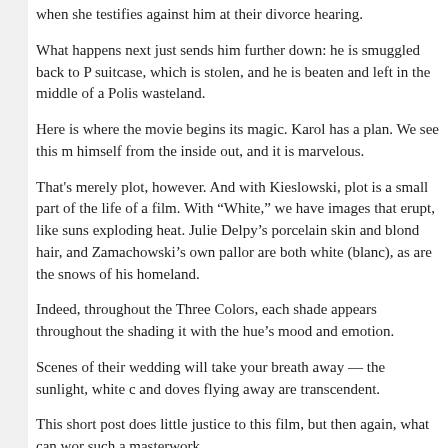when she testifies against him at their divorce hearing.
What happens next just sends him further down: he is smuggled back to P suitcase, which is stolen, and he is beaten and left in the middle of a Polis wasteland.
Here is where the movie begins its magic. Karol has a plan. We see this m himself from the inside out, and it is marvelous.
That's merely plot, however. And with Kieslowski, plot is a small part of the life of a film. With “White,” we have images that erupt, like suns exploding heat. Julie Delpy’s porcelain skin and blond hair, and Zamachowski’s own pallor are both white (blanc), as are the snows of his homeland.
Indeed, throughout the Three Colors, each shade appears throughout the shading it with the hue’s mood and emotion.
Scenes of their wedding will take your breath away — the sunlight, white c and doves flying away are transcendent.
This short post does little justice to this film, but then again, what can wor such a masterwork.
TOMORROW: Three Colors: Red